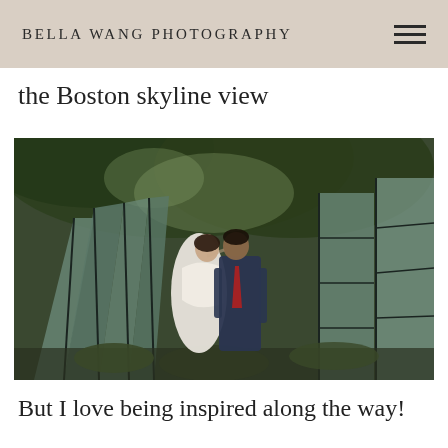BELLA WANG PHOTOGRAPHY
the Boston skyline view
[Figure (photo): Wedding couple kissing outdoors surrounded by large glass building panels and trees; bride in white dress, groom in navy suit with red tie, photographed from below.]
But I love being inspired along the way!